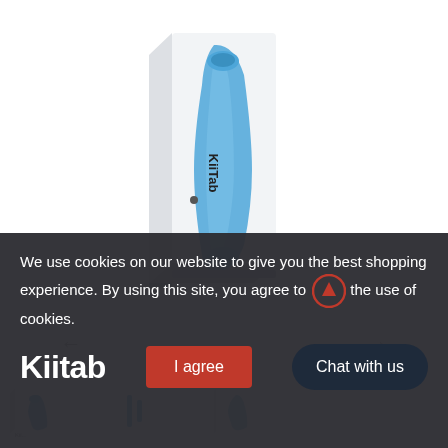[Figure (photo): KiiTab product packaging box - white box with blue accent stripe and KiiTab branding, shown at an angle from above]
[Figure (other): Navigation left and right arrows for image carousel]
[Figure (photo): Thumbnail strip showing smaller product images with right arrow navigation]
We use cookies on our website to give you the best shopping experience. By using this site, you agree to the use of cookies.
Kiitab
I agree
Chat with us